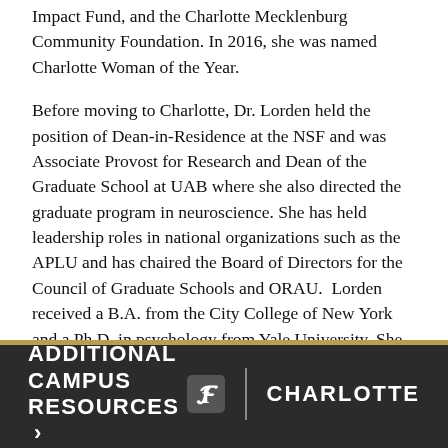Impact Fund, and the Charlotte Mecklenburg Community Foundation. In 2016, she was named Charlotte Woman of the Year.
Before moving to Charlotte, Dr. Lorden held the position of Dean-in-Residence at the NSF and was Associate Provost for Research and Dean of the Graduate School at UAB where she also directed the graduate program in neuroscience. She has held leadership roles in national organizations such as the APLU and has chaired the Board of Directors for the Council of Graduate Schools and ORAU.  Lorden received a B.A. from the City College of New York and a Ph.D. in psychology from Yale University. She is a fellow of the AAAS.
ADDITIONAL CAMPUS RESOURCES >